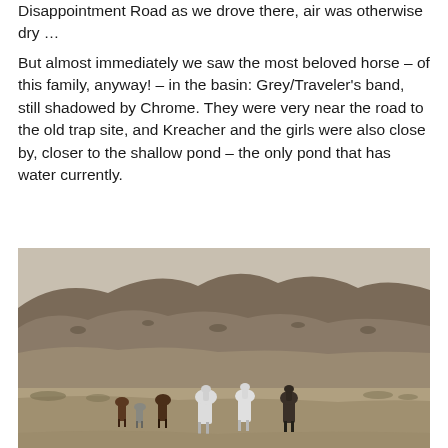Disappointment Road as we drove there, air was otherwise dry …
But almost immediately we saw the most beloved horse – of this family, anyway! – in the basin: Grey/Traveler's band, still shadowed by Chrome. They were very near the road to the old trap site, and Kreacher and the girls were also close by, closer to the shallow pond – the only pond that has water currently.
[Figure (photo): Outdoor landscape photo showing a herd of wild horses (including white and brown horses) standing on a dry, sparse scrubland plain with rolling brown hills in the background.]